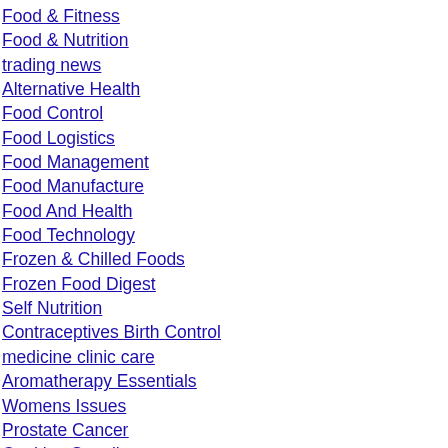Food & Fitness
Food & Nutrition
trading news
Alternative Health
Food Control
Food Logistics
Food Management
Food Manufacture
Food And Health
Food Technology
Frozen & Chilled Foods
Frozen Food Digest
Self Nutrition
Contraceptives Birth Control
medicine clinic care
Aromatherapy Essentials
Womens Issues
Prostate Cancer
Cooking Supplies